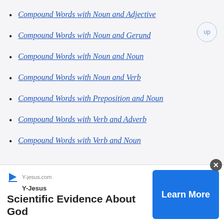Compound Words with Noun and Adjective
Compound Words with Noun and Gerund
Compound Words with Noun and Noun
Compound Words with Noun and Verb
Compound Words with Preposition and Noun
Compound Words with Verb and Adverb
Compound Words with Verb and Noun
Compound Words Index
From Compound Words to HOME PAGE
[Figure (other): Advertisement banner for Y-jesus.com featuring 'Scientific Evidence About God' with a Learn More button]